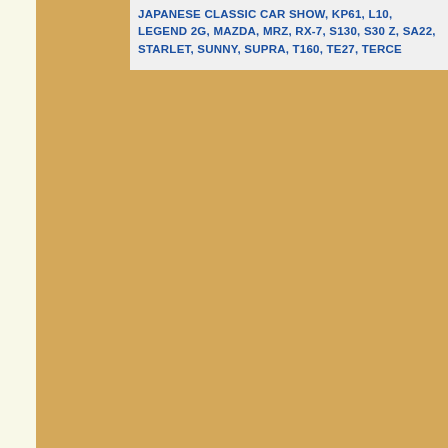JAPANESE CLASSIC CAR SHOW, KP61, L10, LEGEND 2G, MAZDA, MRZ, RX-7, S130, S30 Z, SA22, STARLET, SUNNY, SUPRA, T160, TE27, TERCE